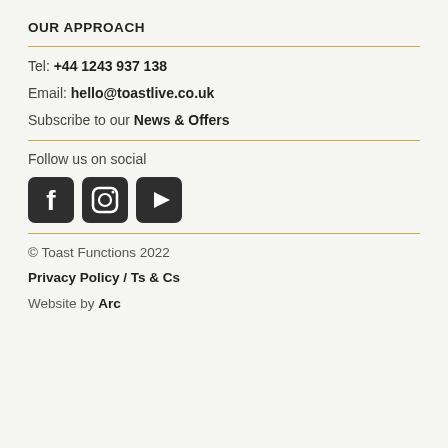OUR APPROACH
Tel: +44 1243 937 138
Email: hello@toastlive.co.uk
Subscribe to our News & Offers
Follow us on social
[Figure (other): Three social media icons: Facebook, Instagram, YouTube]
© Toast Functions 2022
Privacy Policy / Ts & Cs
Website by Arc